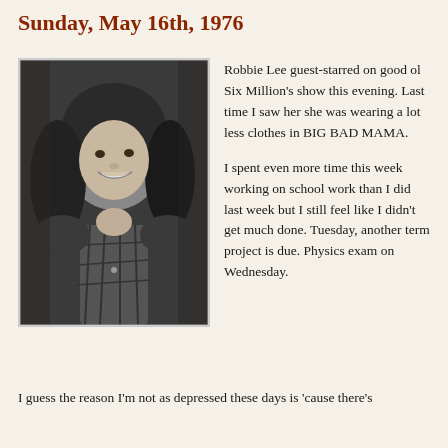Sunday, May 16th, 1976
[Figure (photo): Black and white photograph of a young woman with long dark hair, smiling, wearing an open plaid shirt]
Robbie Lee guest-starred on good ol Six Million's show this evening. Last time I saw her she was wearing a lot less clothes in BIG BAD MAMA.
I spent even more time this week working on school work than I did last week but I still feel like I didn't get much done. Tuesday, another term project is due. Physics exam on Wednesday.
I guess the reason I'm not as depressed these days is 'cause there's